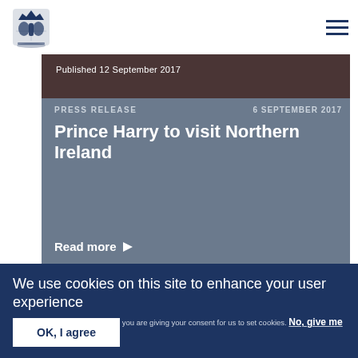UK Government official website header with coat of arms logo and hamburger menu
Published 12 September 2017
PRESS RELEASE   6 SEPTEMBER 2017
Prince Harry to visit Northern Ireland
Read more ▶
We use cookies on this site to enhance your user experience
By clicking any link on this page you are giving your consent for us to set cookies. No, give me more info
OK, I agree